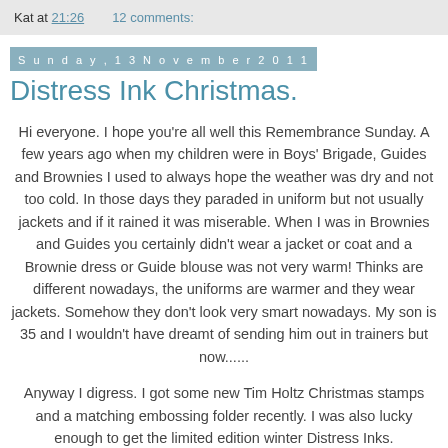Kat at 21:26    12 comments:
Sunday, 13 November 2011
Distress Ink Christmas.
Hi everyone. I hope you're all well this Remembrance Sunday. A few years ago when my children were in Boys' Brigade, Guides and Brownies I used to always hope the weather was dry and not too cold. In those days they paraded in uniform but not usually jackets and if it rained it was miserable. When I was in Brownies and Guides you certainly didn't wear a jacket or coat and a Brownie dress or Guide blouse was not very warm! Thinks are different nowadays, the uniforms are warmer and they wear jackets. Somehow they don't look very smart nowadays. My son is 35 and I wouldn't have dreamt of sending him out in trainers but now......
Anyway I digress. I got some new Tim Holtz Christmas stamps and a matching embossing folder recently. I was also lucky enough to get the limited edition winter Distress Inks.